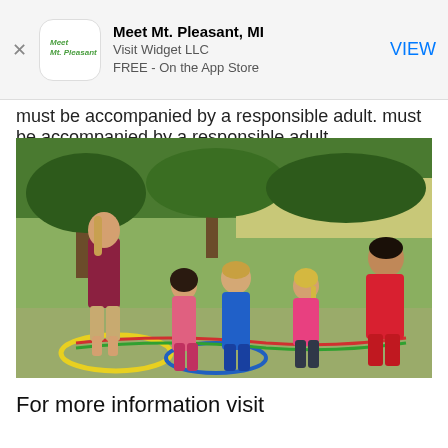[Figure (screenshot): App store banner showing Meet Mt. Pleasant MI app by Visit Widget LLC, free on the App Store, with a VIEW button]
must be accompanied by a responsible adult.
[Figure (photo): Outdoor photo of children and an adult standing in a park around hula hoops on the ground, viewed from behind]
For more information visit